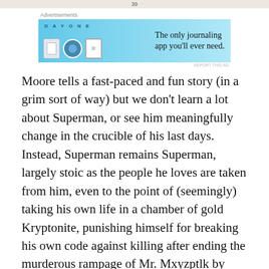39
Advertisements
[Figure (illustration): DAY ONE journaling app advertisement with blue background showing icons and text 'The only journaling app you'll ever need.']
Moore tells a fast-paced and fun story (in a grim sort of way) but we don't learn a lot about Superman, or see him meaningfully change in the crucible of his last days. Instead, Superman remains Superman, largely stoic as the people he loves are taken from him, even to the point of (seemingly) taking his own life in a chamber of gold Kryptonite, punishing himself for breaking his own code against killing after ending the murderous rampage of Mr. Mxyzptlk by tearing him in half with a Phantom Zone ray.
Advertisements
[Figure (illustration): Macy's advertisement with red background, woman's face with lips, text 'KISS BORING LIPS GOODBYE' and 'SHOP NOW' button with Macy's star logo]